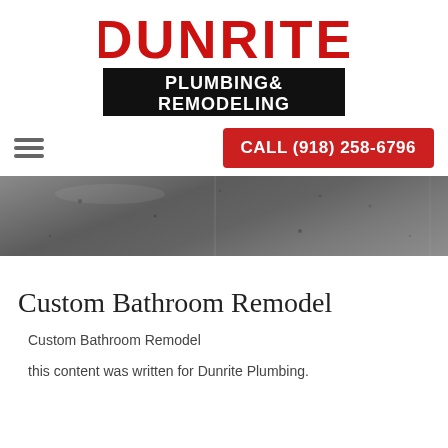[Figure (logo): Dunrite Plumbing & Remodeling logo. 'DUNRITE' in large red outlined text on white, 'PLUMBING & REMODELING' in white bold text on black background.]
[Figure (other): Navigation bar with hamburger menu icon on left and red call-to-action button 'CALL (918) 258-6796' on right.]
[Figure (photo): Gray textured concrete-like banner/hero image strip across full width.]
Custom Bathroom Remodel
Custom Bathroom Remodel
this content was written for Dunrite Plumbing.